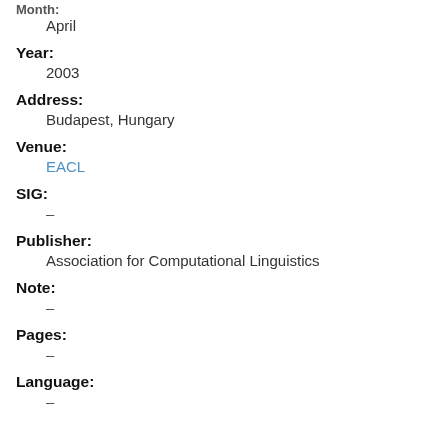Month:
April
Year:
2003
Address:
Budapest, Hungary
Venue:
EACL
SIG:
–
Publisher:
Association for Computational Linguistics
Note:
–
Pages:
–
Language:
–